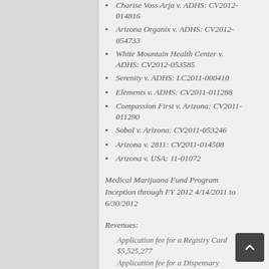Charise Voss Arja v. ADHS: CV2012-014816
Arizona Organix v. ADHS: CV2012-054733
White Mountain Health Center v. ADHS: CV2012-053585
Serenity v. ADHS: LC2011-000410
Elements v. ADHS: CV2011-011288
Compassion First v. Arizona: CV2011-011290
Sobol v. Arizona: CV2011-053246
Arizona v. 2811: CV2011-014508
Arizona v. USA: 11-01072
Medical Marijuana Fund Program Inception through FY 2012 4/14/2011 to 6/30/2012
Revenues:
Application fee for a Registry Card $5,525,277
Application fee for a Dispensary